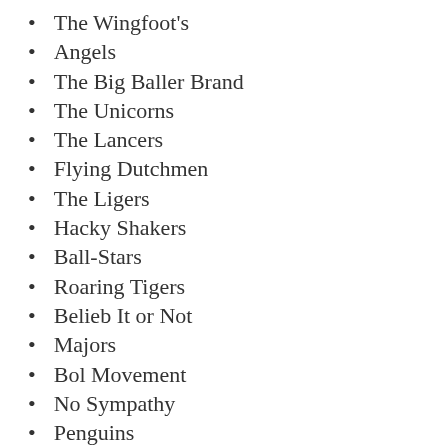The Wingfoot's
Angels
The Big Baller Brand
The Unicorns
The Lancers
Flying Dutchmen
The Ligers
Hacky Shakers
Ball-Stars
Roaring Tigers
Belieb It or Not
Majors
Bol Movement
No Sympathy
Penguins
Barnstormers